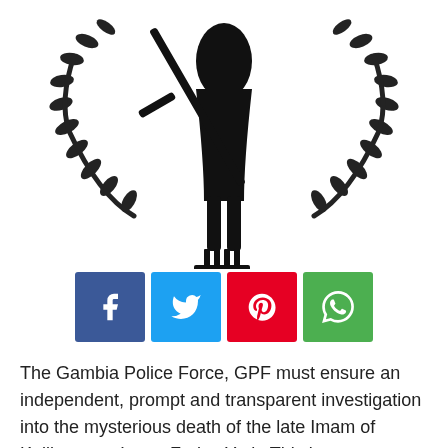[Figure (logo): Gambia Police Force emblem: black silhouette of a figure holding a sword with a laurel wreath on both sides and a base with vertical bars, on white background]
[Figure (infographic): Row of four social media sharing buttons: Facebook (blue), Twitter (light blue), Pinterest (red), WhatsApp (green)]
The Gambia Police Force, GPF must ensure an independent, prompt and transparent investigation into the mysterious death of the late Imam of Kolibantang Imam Foday York. This is